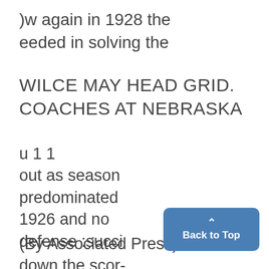)w again in 1928 the eeded in solving the
WILCE MAY HEAD GRID. COACHES AT NEBRASKA
u 1 1
out as season
predominated
1926 and no
defense :succi
(By Associated Press) assaults a down the scor-
Back to Top